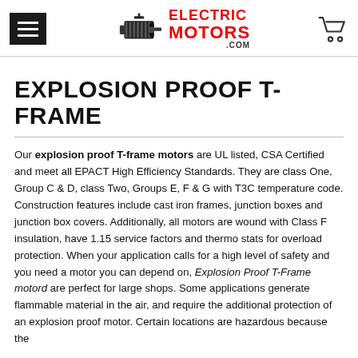ElectricMotors.com header with hamburger menu, logo, and cart icon
EXPLOSION PROOF T-FRAME
Our explosion proof T-frame motors are UL listed, CSA Certified and meet all EPACT High Efficiency Standards. They are class One, Group C & D, class Two, Groups E, F & G with T3C temperature code. Construction features include cast iron frames, junction boxes and junction box covers. Additionally, all motors are wound with Class F insulation, have 1.15 service factors and thermo stats for overload protection. When your application calls for a high level of safety and you need a motor you can depend on, Explosion Proof T-Frame motord are perfect for large shops. Some applications generate flammable material in the air, and require the additional protection of an explosion proof motor. Certain locations are hazardous because the